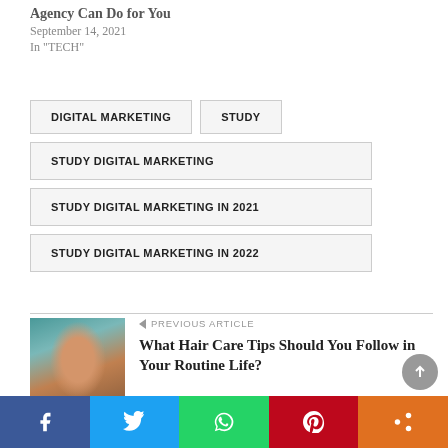Agency Can Do for You
September 14, 2021
In "TECH"
DIGITAL MARKETING
STUDY
STUDY DIGITAL MARKETING
STUDY DIGITAL MARKETING IN 2021
STUDY DIGITAL MARKETING IN 2022
[Figure (photo): Portrait photo of a woman with long hair]
PREVIOUS ARTICLE
What Hair Care Tips Should You Follow in Your Routine Life?